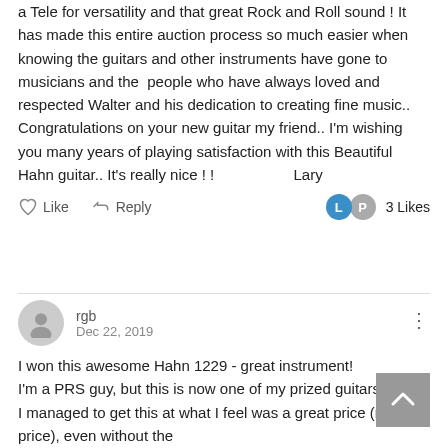a Tele for versatility and that great Rock and Roll sound !  It has made this entire auction process so much easier when knowing the guitars and other instruments have gone to musicians and the  people who have always loved and respected Walter and his dedication to creating fine music.. Congratulations on your new guitar my friend..  I'm wishing you many years of playing satisfaction with this Beautiful Hahn guitar.. It's really nice ! !                     Lary
Like  Reply  3 Likes
rgb
Dec 22, 2019
I won this awesome Hahn 1229 - great instrument!
I'm a PRS guy, but this is now one of my prized guitars.
I managed to get this at what I feel was a great price (near list price), even without the